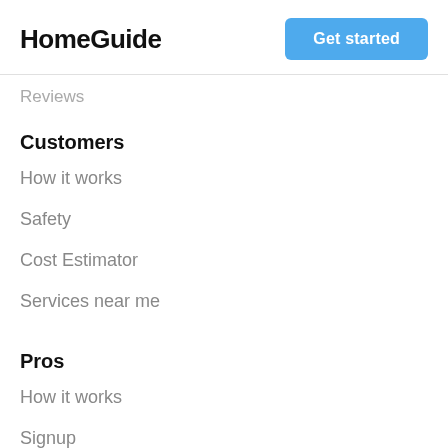HomeGuide | Get started
Reviews
Customers
How it works
Safety
Cost Estimator
Services near me
Pros
How it works
Signup
Pro guide